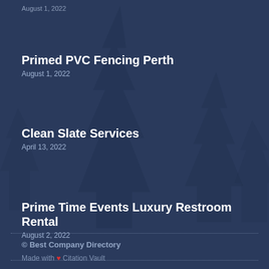August 1, 2022
Primed PVC Fencing Perth
August 1, 2022
Clean Slate Services
April 13, 2022
Prime Time Events Luxury Restroom Rental
August 2, 2022
© Best Company Directory
Made with ❤ Citation Vault